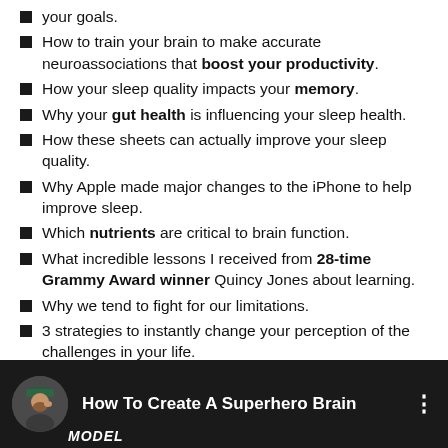your goals.
How to train your brain to make accurate neuroassociations that boost your productivity.
How your sleep quality impacts your memory.
Why your gut health is influencing your sleep health.
How these sheets can actually improve your sleep quality.
Why Apple made major changes to the iPhone to help improve sleep.
Which nutrients are critical to brain function.
What incredible lessons I received from 28-time Grammy Award winner Quincy Jones about learning.
Why we tend to fight for our limitations.
3 strategies to instantly change your perception of the challenges in your life.
[Figure (screenshot): YouTube-style video bar with avatar photo, title 'How To Create A Superhero Brain', three-dot menu icon, and 'MODEL' watermark text at bottom left. Dark background.]